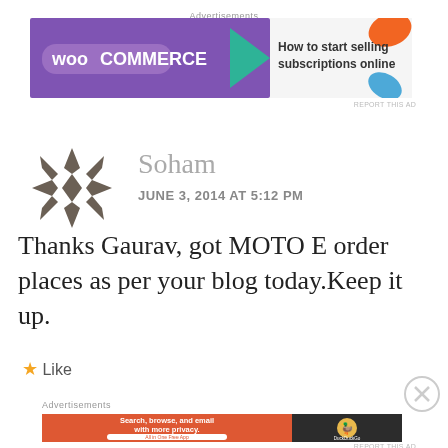Advertisements
[Figure (screenshot): WooCommerce advertisement banner: purple background with WooCommerce logo on left, teal arrow, orange shape, text 'How to start selling subscriptions online', blue leaf shape on right]
REPORT THIS AD
[Figure (illustration): Dark brown geometric snowflake/quilt pattern avatar icon for user Soham]
Soham
JUNE 3, 2014 AT  5:12 PM
Thanks Gaurav, got MOTO E order places as per your blog today.Keep it up.
★ Like
Advertisements
[Figure (screenshot): DuckDuckGo advertisement: orange background on left with text 'Search, browse, and email with more privacy. All in One Free App', dark panel on right with DuckDuckGo duck logo]
REPORT THIS AD